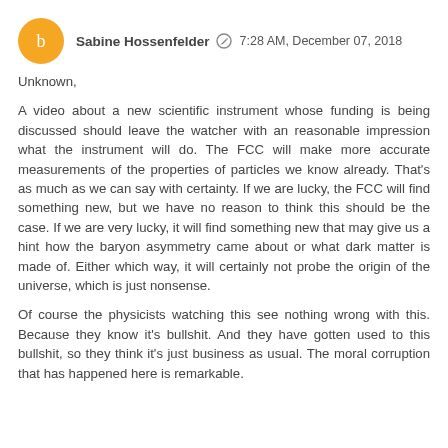Sabine Hossenfelder   7:28 AM, December 07, 2018
Unknown,

A video about a new scientific instrument whose funding is being discussed should leave the watcher with an reasonable impression what the instrument will do. The FCC will make more accurate measurements of the properties of particles we know already. That's as much as we can say with certainty. If we are lucky, the FCC will find something new, but we have no reason to think this should be the case. If we are very lucky, it will find something new that may give us a hint how the baryon asymmetry came about or what dark matter is made of. Either which way, it will certainly not probe the origin of the universe, which is just nonsense.

Of course the physicists watching this see nothing wrong with this. Because they know it's bullshit. And they have gotten used to this bullshit, so they think it's just business as usual. The moral corruption that has happened here is remarkable.